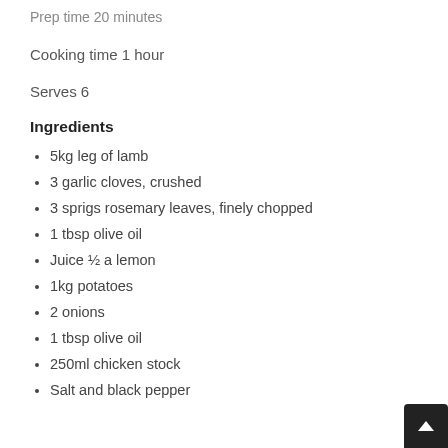Prep time 20 minutes
Cooking time 1 hour
Serves 6
Ingredients
5kg leg of lamb
3 garlic cloves, crushed
3 sprigs rosemary leaves, finely chopped
1 tbsp olive oil
Juice ½ a lemon
1kg potatoes
2 onions
1 tbsp olive oil
250ml chicken stock
Salt and black pepper